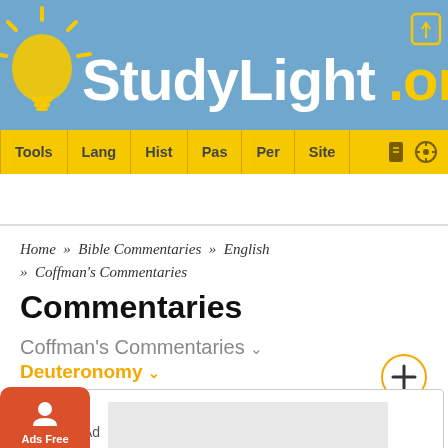[Figure (logo): StudyLight.org website header with blue background, light bulb icon on left, white 'StudyLight' text and yellow '.org' text]
Tools | Lang | Hist | Pas | Per | Site
Home » Bible Commentaries » English » Coffman's Commentaries
Commentaries
Coffman's Commentaries
Deuteronomy